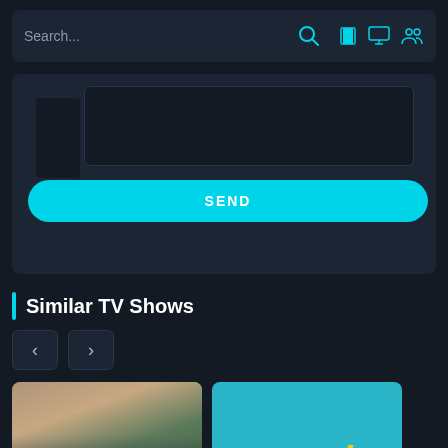[Figure (screenshot): Search bar with placeholder text 'Search...' and a cyan search icon on the right. Three cyan icons (bookmark, monitor, person) in the top-right corner.]
[Figure (screenshot): A dark card containing a text area input and a cyan 'SEND' button below it.]
Similar TV Shows
[Figure (screenshot): Navigation arrow buttons (left and right) for a carousel.]
[Figure (screenshot): Two TV show thumbnails side by side. Left shows a person with score badge '8' and 'HD'. Right is a teal card with 'glee' yellow text, score '6.707' and 'HD' badge.]